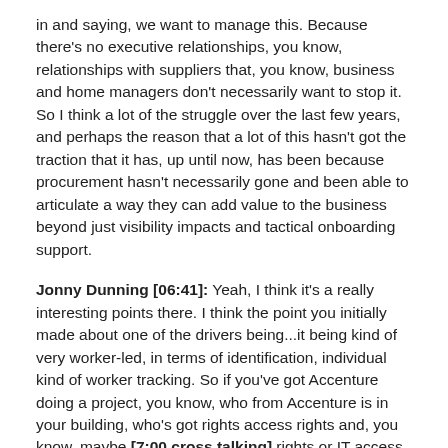in and saying, we want to manage this. Because there's no executive relationships, you know, relationships with suppliers that, you know, business and home managers don't necessarily want to stop it. So I think a lot of the struggle over the last few years, and perhaps the reason that a lot of this hasn't got the traction that it has, up until now, has been because procurement hasn't necessarily gone and been able to articulate a way they can add value to the business beyond just visibility impacts and tactical onboarding support.
Jonny Dunning [06:41]: Yeah, I think it's a really interesting points there. I think the point you initially made about one of the drivers being...it being kind of very worker-led, in terms of identification, individual kind of worker tracking. So if you've got Accenture doing a project, you know, who from Accenture is in your building, who's got rights access rights and, you know, maybe [7:00 cross talking] rights or IT access rights, whatever that might be. And you've got to get that scenario versus and that kind of very much almost transitioning from